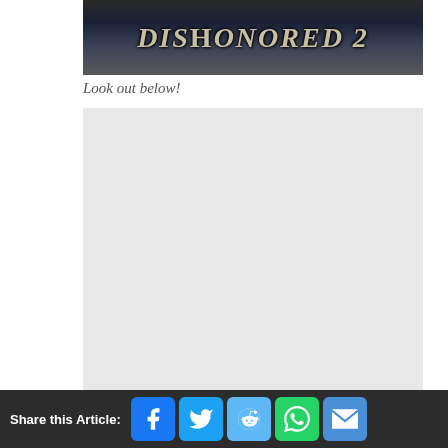[Figure (screenshot): Dishonored 2 game title screen/logo image with dark atmospheric background]
Look out below!
[Figure (other): Advertisement placeholder area (gray box)]
Clearly, the game has not yet been released, and as such there's still a
Share this Article: